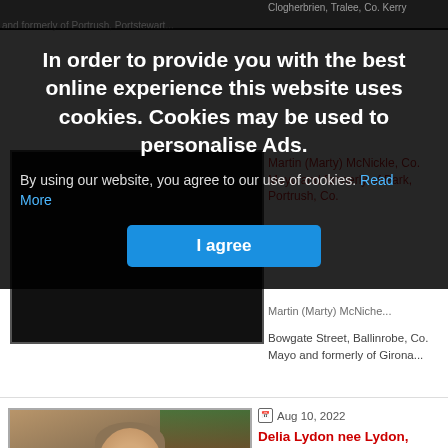[Figure (screenshot): Partially visible background page with dark header, obituary content, and a dark photo block]
In order to provide you with the best online experience this website uses cookies. Cookies may be used to personalise Ads.
By using our website, you agree to our use of cookies. Read More
I agree
Martin (Marty) McNickle, Co. Mayo and formerly of Park, Portrush, Co.
Martin (Marty) McNiche...
Bowgate Street, Ballinrobe, Co. Mayo and formerly of Girona...
Aug 10, 2022
Delia Lydon nee Lydon, Kilour, The Neale, Ballinrobe, Co. Mayo
Delia Lydon nee Lydon,
Kilour, The Neale, Ballinrobe, Co. Mayo (9/08/22) - peacefully...